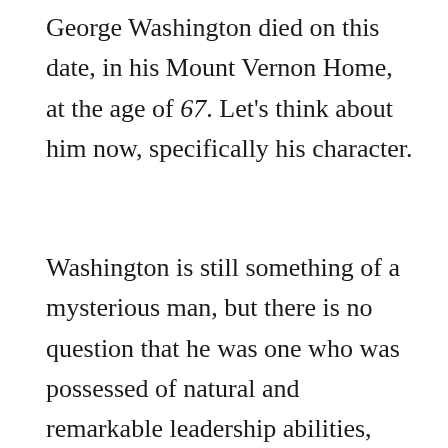George Washington died on this date, in his Mount Vernon Home, at the age of 67. Let's think about him now, specifically his character.
Washington is still something of a mysterious man, but there is no question that he was one who was possessed of natural and remarkable leadership abilities, unusual instincts of common sense and justice, astounding courage,